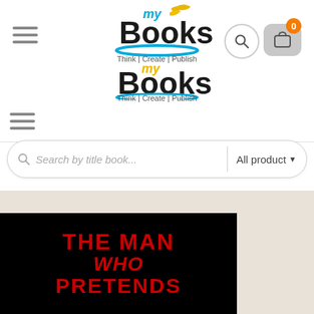[Figure (logo): myBooks logo with text 'Think | Create | Publish' and book graphic with golden leaves, shown twice (original top header and overlapping nav position)]
[Figure (screenshot): Website header with hamburger menu icon, myBooks logo, search icon button, and shopping cart button with orange badge showing '0']
Search by title book...
All product
[Figure (photo): Book cover with black background showing red bold text 'THE MAN WHO PRETENDS' (partially visible)]